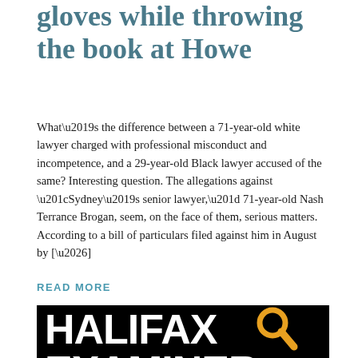gloves while throwing the book at Howe
What’s the difference between a 71-year-old white lawyer charged with professional misconduct and incompetence, and a 29-year-old Black lawyer accused of the same? Interesting question. The allegations against “Sydney’s senior lawyer,” 71-year-old Nash Terrance Brogan, seem, on the face of them, serious matters. According to a bill of particulars filed against him in August by […]
READ MORE
[Figure (logo): Halifax Examiner logo: white bold text on black background with orange magnifying glass icon]